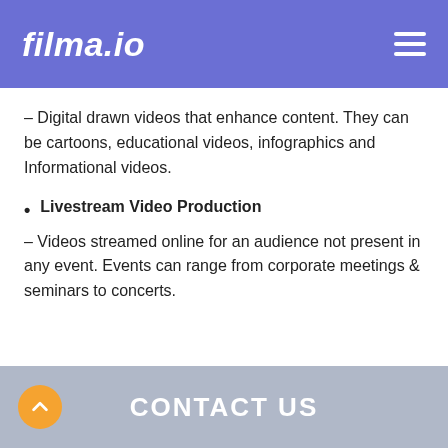filma.io
– Digital drawn videos that enhance content. They can be cartoons, educational videos, infographics and Informational videos.
Livestream Video Production – Videos streamed online for an audience not present in any event. Events can range from corporate meetings & seminars to concerts.
CONTACT US